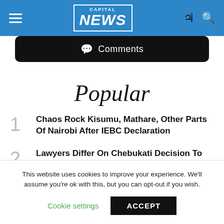CAPITAL NEWS
💬 Comments
Popular
1 Chaos Rock Kisumu, Mathare, Other Parts Of Nairobi After IEBC Declaration
2 Lawyers Differ On Chebukati Decision To Declare Ruto President-Elect
3
This website uses cookies to improve your experience. We'll assume you're ok with this, but you can opt-out if you wish.
Cookie settings   ACCEPT